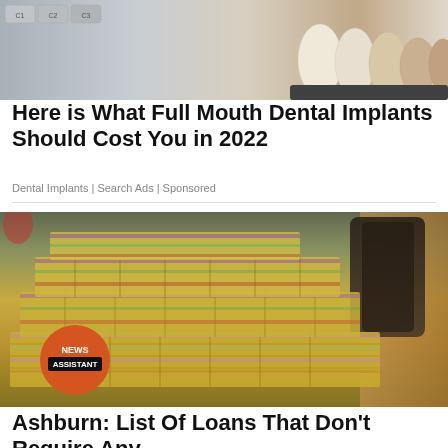[Figure (photo): Photo of dental shade guide with tooth color samples labeled C1, C2, C3 on grey tabs next to prosthetic tooth samples in ivory/brown shades]
Here is What Full Mouth Dental Implants Should Cost You in 2022
Dental Implants | Search Ads | Sponsored
[Figure (photo): Photo of large stacks of US dollar bills bundled with rubber bands piled on a desk, with a NEWS ASSISTANT orange circle logo badge in the lower left, and a chair and wood desk visible in background]
Ashburn: List Of Loans That Don't Require Any